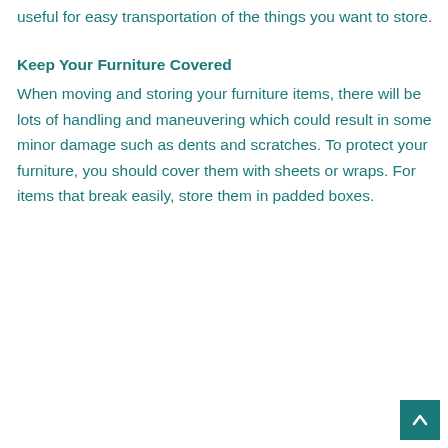useful for easy transportation of the things you want to store.
Keep Your Furniture Covered
When moving and storing your furniture items, there will be lots of handling and maneuvering which could result in some minor damage such as dents and scratches. To protect your furniture, you should cover them with sheets or wraps. For items that break easily, store them in padded boxes.